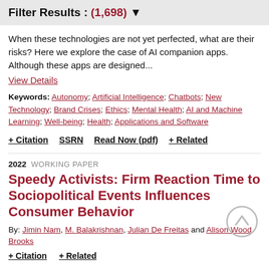Filter Results : (1,698)
When these technologies are not yet perfected, what are their risks? Here we explore the case of AI companion apps. Although these apps are designed...
View Details
Keywords: Autonomy; Artificial Intelligence; Chatbots; New Technology; Brand Crises; Ethics; Mental Health; AI and Machine Learning; Well-being; Health; Applications and Software
+ Citation   SSRN   Read Now (pdf)   + Related
2022  WORKING PAPER
Speedy Activists: Firm Reaction Time to Sociopolitical Events Influences Consumer Behavior
By: Jimin Nam, M. Balakrishnan, Julian De Freitas and Alison Wood Brooks
+ Citation   + Related